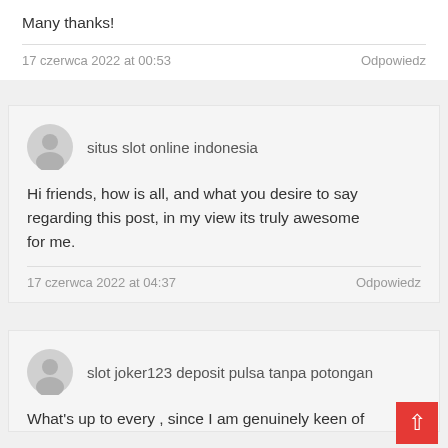Many thanks!
17 czerwca 2022 at 00:53
Odpowiedz
situs slot online indonesia
Hi friends, how is all, and what you desire to say regarding this post, in my view its truly awesome
for me.
17 czerwca 2022 at 04:37
Odpowiedz
slot joker123 deposit pulsa tanpa potongan
What's up to every , since I am genuinely keen of